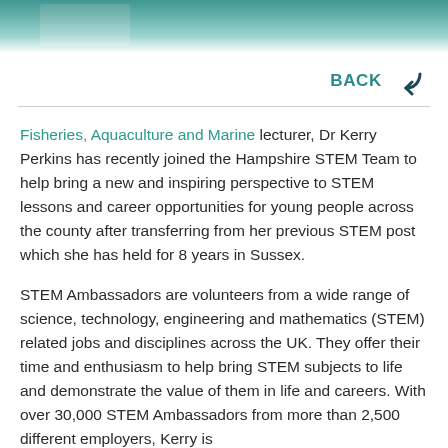[Figure (photo): Partial photo of people at a table, cropped at top of page with teal/aqua background strip]
BACK ←
Fisheries, Aquaculture and Marine lecturer, Dr Kerry Perkins has recently joined the Hampshire STEM Team to help bring a new and inspiring perspective to STEM lessons and career opportunities for young people across the county after transferring from her previous STEM post which she has held for 8 years in Sussex.
STEM Ambassadors are volunteers from a wide range of science, technology, engineering and mathematics (STEM) related jobs and disciplines across the UK. They offer their time and enthusiasm to help bring STEM subjects to life and demonstrate the value of them in life and careers. With over 30,000 STEM Ambassadors from more than 2,500 different employers, Kerry is